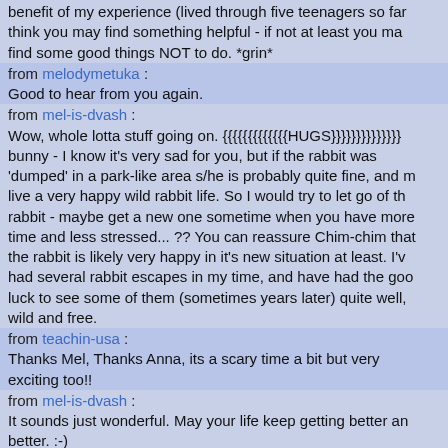benefit of my experience (lived through five teenagers so far) - I think you may find something helpful - if not at least you may find some good things NOT to do. *grin*
from melodymetuka :
Good to hear from you again.
from mel-is-dvash :
Wow, whole lotta stuff going on. {{{{{{{{{{{{{HUGS}}}}}}}}}}}}}}} bunny - I know it's very sad for you, but if the rabbit was 'dumped' in a park-like area s/he is probably quite fine, and may live a very happy wild rabbit life. So I would try to let go of the rabbit - maybe get a new one sometime when you have more time and less stressed... ?? You can reassure Chim-chim that the rabbit is likely very happy in it's new situation at least. I've had several rabbit escapes in my time, and have had the good luck to see some of them (sometimes years later) quite well, wild and free.
from teachin-usa :
Thanks Mel, Thanks Anna, its a scary time a bit but very exciting too!!
from mel-is-dvash :
It sounds just wonderful. May your life keep getting better and better. :-)
from annanotbob :
Good to 'hear from' you and glad that you are starting your N